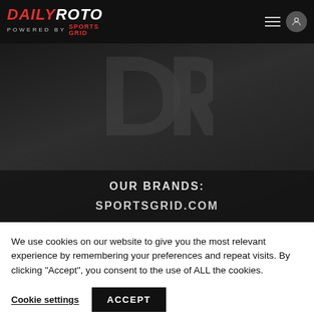DAILYROTO POWERED BY SPORTSGRID
[Figure (logo): DailyRoto DR watermark logo on dark background hero section with text OUR BRANDS: and SPORTSGRID.COM]
OUR BRANDS:
SPORTSGRID.COM
We use cookies on our website to give you the most relevant experience by remembering your preferences and repeat visits. By clicking “Accept”, you consent to the use of ALL the cookies.
Cookie settings
ACCEPT